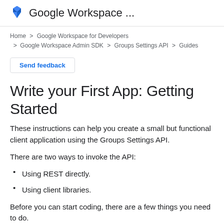Google Workspace ...
Home > Google Workspace for Developers > Google Workspace Admin SDK > Groups Settings API > Guides
Send feedback
Write your First App: Getting Started
These instructions can help you create a small but functional client application using the Groups Settings API.
There are two ways to invoke the API:
Using REST directly.
Using client libraries.
Before you can start coding, there are a few things you need to do.